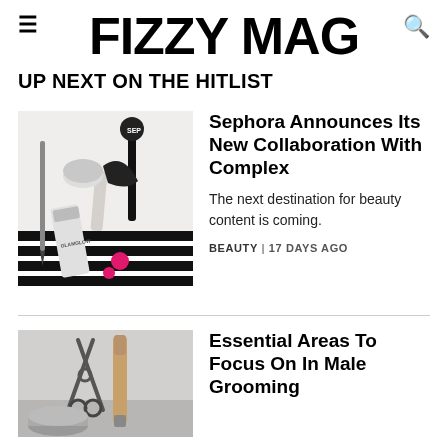FIZZY MAG
UP NEXT ON THE HITLIST
[Figure (photo): Flatlay of beauty products including GlamGlow tube, mascara, lip gloss, eyebrow pencil, cream jar on black and white striped background]
Sephora Announces Its New Collaboration With Complex
The next destination for beauty content is coming.
BEAUTY | 17 DAYS AGO
[Figure (photo): Flatlay of male grooming tools including scissors, a wooden-handled item, and a metal tin on a light surface]
Essential Areas To Focus On In Male Grooming